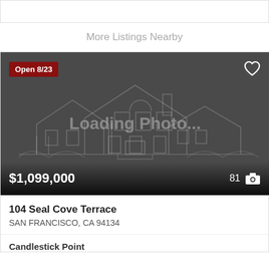[Figure (screenshot): Top white bar/header placeholder]
More Listings Nearby
[Figure (photo): Real estate listing photo placeholder showing dark grey background with white house outline wireframe and 'Loading Photo...' text overlay. Has 'Open 8/23' badge top-left, heart icon top-right, price $1,099,000 and photo count 81 at bottom.]
104 Seal Cove Terrace
SAN FRANCISCO, CA 94134
Candlestick Point